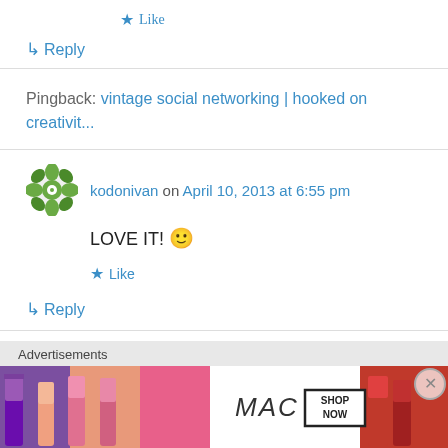★ Like
↳ Reply
Pingback: vintage social networking | hooked on creativit...
kodonivan on April 10, 2013 at 6:55 pm
LOVE IT! 🙂
★ Like
↳ Reply
[Figure (illustration): MAC cosmetics advertisement banner showing lipsticks in purple, pink, and red with MAC logo and SHOP NOW button]